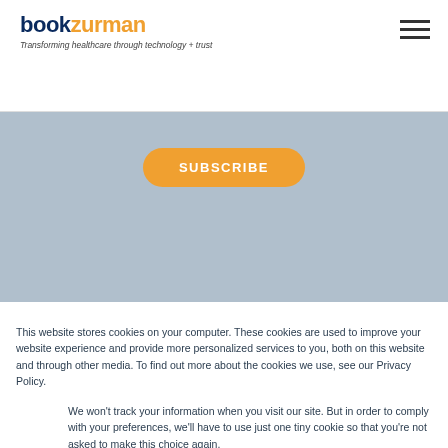[Figure (logo): bookzurman logo with tagline 'Transforming healthcare through technology + trust']
[Figure (other): Light blue-gray banner section with orange SUBSCRIBE button]
This website stores cookies on your computer. These cookies are used to improve your website experience and provide more personalized services to you, both on this website and through other media. To find out more about the cookies we use, see our Privacy Policy.
We won't track your information when you visit our site. But in order to comply with your preferences, we'll have to use just one tiny cookie so that you're not asked to make this choice again.